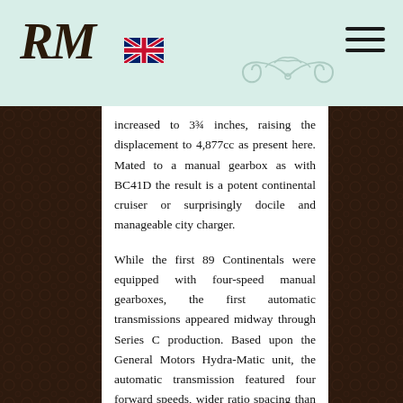RM [logo] [UK flag] [decorative scroll] [hamburger menu]
increased to 3¾ inches, raising the displacement to 4,877cc as present here. Mated to a manual gearbox as with BC41D the result is a potent continental cruiser or surprisingly docile and manageable city charger.
While the first 89 Continentals were equipped with four-speed manual gearboxes, the first automatic transmissions appeared midway through Series C production. Based upon the General Motors Hydra-Matic unit, the automatic transmission featured four forward speeds, wider ratio spacing than that of the manual gearbox, and a direct drive fourth gear. All automatic-equipped